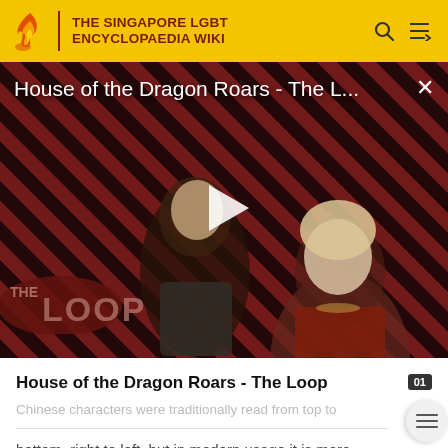THE SINGAPORE LGBT ENCYCLOPAEDIA WIKI
[Figure (screenshot): Video thumbnail showing two characters from House of the Dragon against a red and black diagonal striped background. A play button is visible in the center. 'THE LOOP' branding appears in the lower left. Title reads 'House of the Dragon Roars - The L...' with a close (x) button top right.]
House of the Dragon Roars - The Loop
Chinese characters were traditionally read from top to bottom, right to left, but in modern usage it is more common to read from left to right.